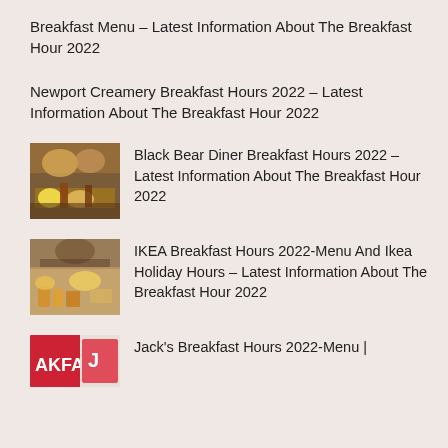Breakfast Menu – Latest Information About The Breakfast Hour 2022
Newport Creamery Breakfast Hours 2022 – Latest Information About The Breakfast Hour 2022
[Figure (photo): Photo of a breakfast spread with eggs, sausages, and various dishes on plates]
Black Bear Diner Breakfast Hours 2022 – Latest Information About The Breakfast Hour 2022
[Figure (photo): Photo of a full English breakfast with sausages, beans, eggs and toast]
IKEA Breakfast Hours 2022-Menu And Ikea Holiday Hours – Latest Information About The Breakfast Hour 2022
[Figure (logo): Jack's breakfast branding logo with red background and text AKFAST]
Jack's Breakfast Hours 2022-Menu |